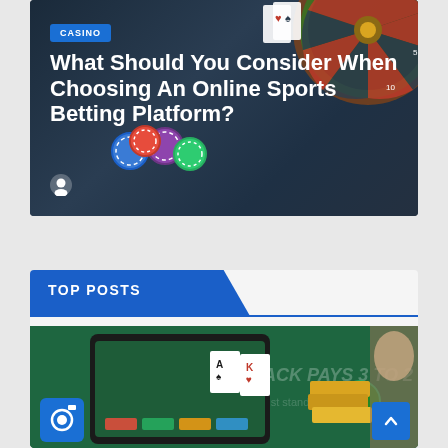[Figure (screenshot): Casino article card with dark background showing roulette wheel, playing cards, and casino chips. Blue CASINO badge in top-left corner.]
What Should You Consider When Choosing An Online Sports Betting Platform?
TOP POSTS
[Figure (photo): Blackjack table with playing cards on green felt. Camera icon button visible bottom-left. Scroll-to-top button bottom-right.]